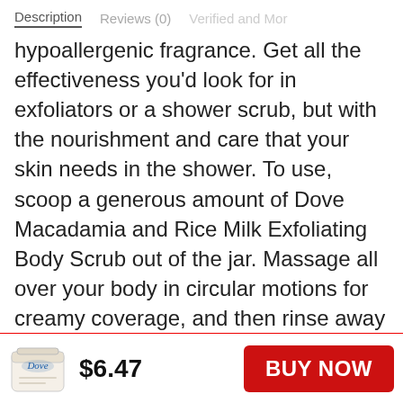Description   Reviews (0)
hypoallergenic fragrance. Get all the effectiveness you'd look for in exfoliators or a shower scrub, but with the nourishment and care that your skin needs in the shower. To use, scoop a generous amount of Dove Macadamia and Rice Milk Exfoliating Body Scrub out of the jar. Massage all over your body in circular motions for creamy coverage, and then rinse away to reveal silky smooth skin. Use 3-4 times per week as part of your skin care regimen, followed by Dove Body Wash or Beauty Bar for touchably soft skin. Try Dove Body Polish to get beach-ready skin, prep skin for tanning, or to help exfoliate before shaving to help prevent ingrown hairs. You'll love the